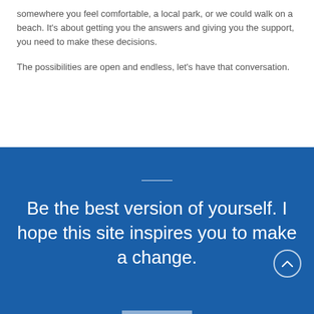somewhere you feel comfortable, a local park, or we could walk on a beach. It's about getting you the answers and giving you the support, you need to make these decisions.
The possibilities are open and endless, let's have that conversation.
Be the best version of yourself. I hope this site inspires you to make a change.